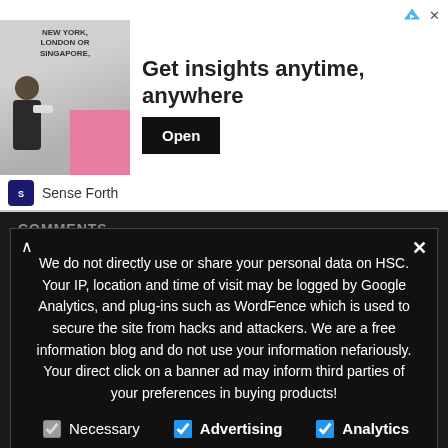[Figure (screenshot): Advertisement banner showing 'Get insights anytime, anywhere' with an Open button, Sense Forth logo below]
COMMENTS
admin on
slownose on Panasonic Lumia GH4 does 280fps in Full HD!
admin on Nikon Z7 and Z6 Mirrorless Have 120fps Slow Motion!
Gabriel on Nikon Z7 and Z6 Mirrorless Have 120fps Slow Motion!
admin on Sony Xperia 1 III Is Slow Motion Capable!
We do not directly use or share your personal data on HSC. Your IP, location and time of visit may be logged by Google Analytics, and plug-ins such as WordFence which is used to secure the site from hacks and attackers. We are a free information blog and do not use your information nefariously. Your direct click on a banner ad may inform third parties of your preferences in buying products!
Necessary
Advertising
Analytics
Other
Privacy Preferences
I Agree
Copyright © hispeedcams.com 2020